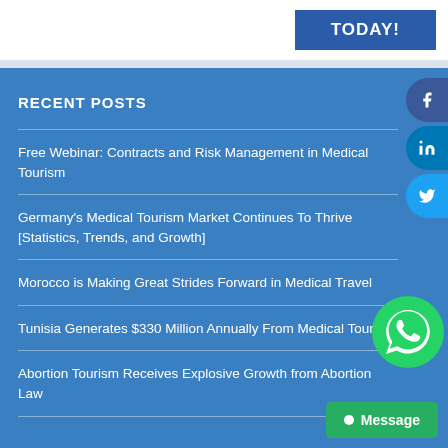TODAY!
RECENT POSTS
Free Webinar: Contracts and Risk Management in Medical Tourism
Germany's Medical Tourism Market Continues To Thrive [Statistics, Trends, and Growth]
Morocco is Making Great Strides Forward in Medical Travel
Tunisia Generates $330 Million Annually From Medical Tourism
Abortion Tourism Receives Explosive Growth from Abortion Law